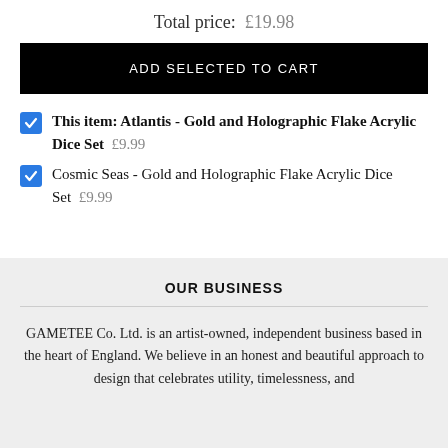Total price: £19.98
ADD SELECTED TO CART
This item: Atlantis - Gold and Holographic Flake Acrylic Dice Set £9.99
Cosmic Seas - Gold and Holographic Flake Acrylic Dice Set £9.99
OUR BUSINESS
GAMETEE Co. Ltd. is an artist-owned, independent business based in the heart of England. We believe in an honest and beautiful approach to design that celebrates utility, timelessness, and